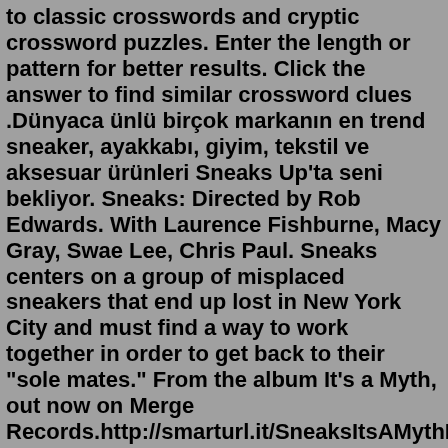to classic crosswords and cryptic crossword puzzles. Enter the length or pattern for better results. Click the answer to find similar crossword clues .Dünyaca ünlü birçok markanın en trend sneaker, ayakkabı, giyim, tekstil ve aksesuar ürünleri Sneaks Up'ta seni bekliyor. Sneaks: Directed by Rob Edwards. With Laurence Fishburne, Macy Gray, Swae Lee, Chris Paul. Sneaks centers on a group of misplaced sneakers that end up lost in New York City and must find a way to work together in order to get back to their "sole mates." From the album It's a Myth, out now on Merge Records.http://smarturl.it/SneaksItsAMythDirector/DPEmmett Kerr-PerkinsonProducer: Robert RavenscroftProductio... The Crossword Solver found 20 answers to "Sneaks/779063", 4 letters crossword clue. The Crossword Solver finds answers to classic crosswords and cryptic crossword puzzles. Enter the length or pattern for better results. Click the answer to find similar crossword clues .Your ultimate sneaker shop. Explore, buy and share the sneakers you love